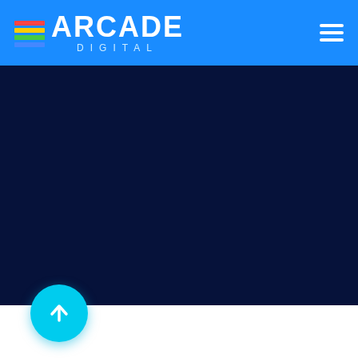ARCADE DIGITAL
[Figure (screenshot): Dark navy blue section filling the middle of the page, representing a website content area]
[Figure (illustration): Cyan circular scroll-to-top button with upward arrow icon, positioned at bottom left]